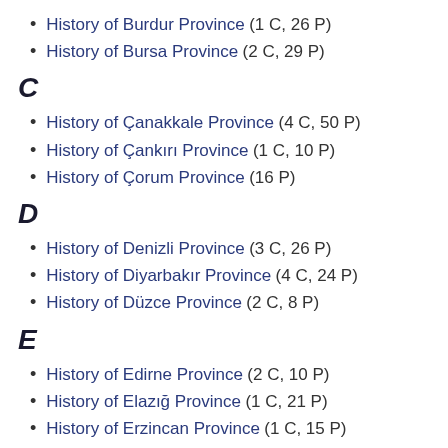History of Burdur Province (1 C, 26 P)
History of Bursa Province (2 C, 29 P)
C
History of Çanakkale Province (4 C, 50 P)
History of Çankırı Province (1 C, 10 P)
History of Çorum Province (16 P)
D
History of Denizli Province (3 C, 26 P)
History of Diyarbakır Province (4 C, 24 P)
History of Düzce Province (2 C, 8 P)
E
History of Edirne Province (2 C, 10 P)
History of Elazığ Province (1 C, 21 P)
History of Erzincan Province (1 C, 15 P)